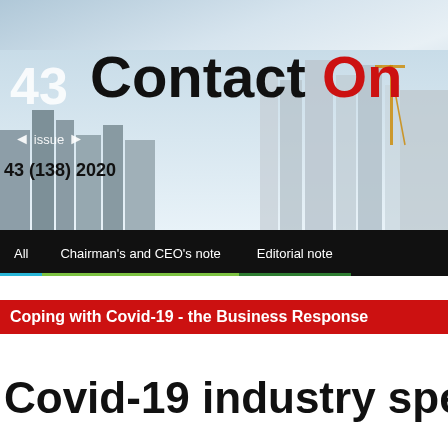[Figure (photo): City skyline with tall modern skyscrapers under a partly cloudy sky, serving as background header image for a newsletter called Contact Online, Issue 43 (138) 2020]
43  Contact On  43 (138) 2020
All   Chairman's and CEO's note   Editorial note
Coping with Covid-19 - the Business Response
Covid-19 industry specific ins